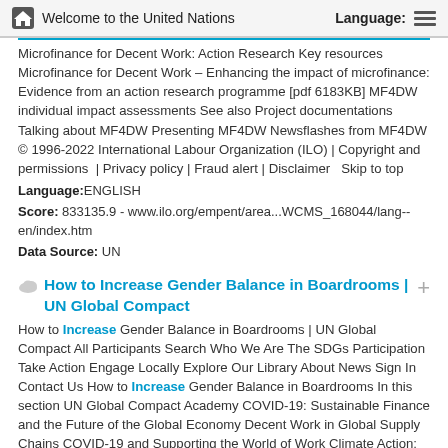Welcome to the United Nations  Language:
Microfinance for Decent Work: Action Research Key resources Microfinance for Decent Work – Enhancing the impact of microfinance: Evidence from an action research programme [pdf 6183KB] MF4DW individual impact assessments See also Project documentations Talking about MF4DW Presenting MF4DW Newsflashes from MF4DW © 1996-2022 International Labour Organization (ILO) | Copyright and permissions  | Privacy policy | Fraud alert | Disclaimer   Skip to top
Language:ENGLISH
Score: 833135.9 - www.ilo.org/empent/area...WCMS_168044/lang--en/index.htm
Data Source: UN
How to Increase Gender Balance in Boardrooms | UN Global Compact
How to Increase Gender Balance in Boardrooms | UN Global Compact All Participants Search Who We Are The SDGs Participation Take Action Engage Locally Explore Our Library About News Sign In Contact Us How to Increase Gender Balance in Boardrooms In this section UN Global Compact Academy COVID-19: Sustainable Finance and the Future of the Global Economy Decent Work in Global Supply Chains COVID-19 and Supporting the World of Work Climate Action: Uniting Business and Governments to Recover Better Regional Perspectives on Leadership in a Global Crisis SDG Action Manager Eliminating Harassment and Violence in the World of Work Threats to Critical Global Ocean Supply Chains: Shipping During COVID-19 Global Cooperation for Crisis Response Briefing on...